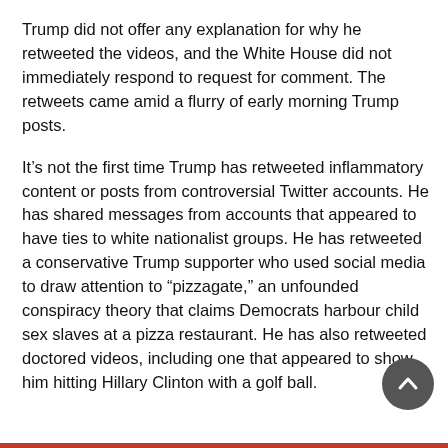Trump did not offer any explanation for why he retweeted the videos, and the White House did not immediately respond to request for comment. The retweets came amid a flurry of early morning Trump posts.
It's not the first time Trump has retweeted inflammatory content or posts from controversial Twitter accounts. He has shared messages from accounts that appeared to have ties to white nationalist groups. He has retweeted a conservative Trump supporter who used social media to draw attention to “pizzagate,” an unfounded conspiracy theory that claims Democrats harbour child sex slaves at a pizza restaurant. He has also retweeted doctored videos, including one that appeared to show him hitting Hillary Clinton with a golf ball.